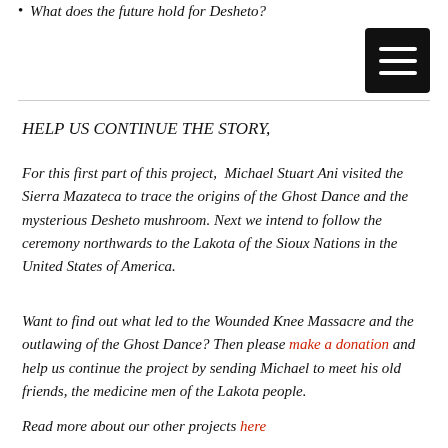What does the future hold for Desheto?
[Figure (other): Hamburger/menu icon button — black square with three white horizontal lines]
HELP US CONTINUE THE STORY,
For this first part of this project,  Michael Stuart Ani visited the Sierra Mazateca to trace the origins of the Ghost Dance and the mysterious Desheto mushroom. Next we intend to follow the ceremony northwards to the Lakota of the Sioux Nations in the United States of America.
Want to find out what led to the Wounded Knee Massacre and the outlawing of the Ghost Dance? Then please make a donation and help us continue the project by sending Michael to meet his old friends, the medicine men of the Lakota people.
Read more about our other projects here